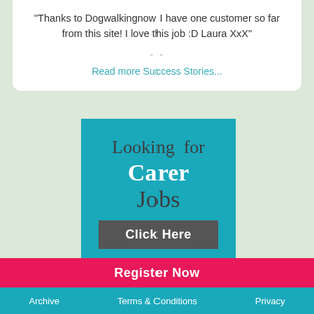"Thanks to Dogwalkingnow I have one customer so far from this site! I love this job :D Laura XxX"
- -
Read more Success Stories...
[Figure (infographic): Teal colored banner advertisement reading 'Looking for Carer Jobs' with a dark gray 'Click Here' button]
Register Now
Archive   Terms & Conditions   Privacy